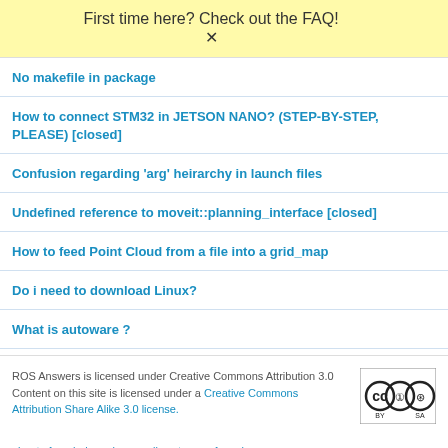First time here? Check out the FAQ!
No makefile in package
How to connect STM32 in JETSON NANO? (STEP-BY-STEP, PLEASE) [closed]
Confusion regarding 'arg' heirarchy in launch files
Undefined reference to moveit::planning_interface [closed]
How to feed Point Cloud from a file into a grid_map
Do i need to download Linux?
What is autoware ?
ROS Answers is licensed under Creative Commons Attribution 3.0 Content on this site is licensed under a Creative Commons Attribution Share Alike 3.0 license.
about  faq  help  privacy policy  terms of service
Powered by Askbot version 0.10.2